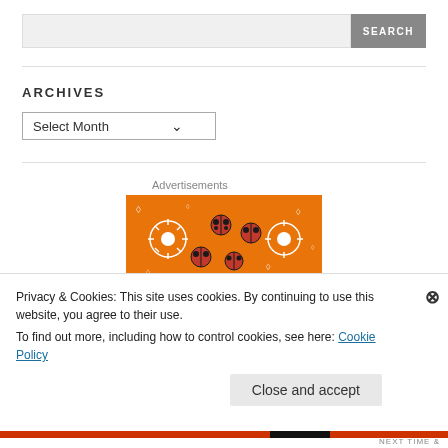[Figure (screenshot): Search bar with text input and SEARCH button]
ARCHIVES
[Figure (screenshot): Select Month dropdown]
Advertisements
[Figure (illustration): Orange background advertisement image with white flower patterns and ladybugs]
Privacy & Cookies: This site uses cookies. By continuing to use this website, you agree to their use.
To find out more, including how to control cookies, see here: Cookie Policy
Close and accept